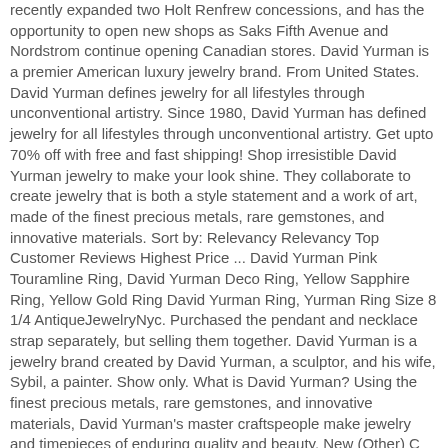recently expanded two Holt Renfrew concessions, and has the opportunity to open new shops as Saks Fifth Avenue and Nordstrom continue opening Canadian stores. David Yurman is a premier American luxury jewelry brand. From United States. David Yurman defines jewelry for all lifestyles through unconventional artistry. Since 1980, David Yurman has defined jewelry for all lifestyles through unconventional artistry. Get upto 70% off with free and fast shipping! Shop irresistible David Yurman jewelry to make your look shine. They collaborate to create jewelry that is both a style statement and a work of art, made of the finest precious metals, rare gemstones, and innovative materials. Sort by: Relevancy Relevancy Top Customer Reviews Highest Price ... David Yurman Pink Touramline Ring, David Yurman Deco Ring, Yellow Sapphire Ring, Yellow Gold Ring David Yurman Ring, Yurman Ring Size 8 1/4 AntiqueJewelryNyc. Purchased the pendant and necklace strap separately, but selling them together. David Yurman is a jewelry brand created by David Yurman, a sculptor, and his wife, Sybil, a painter. Show only. What is David Yurman? Using the finest precious metals, rare gemstones, and innovative materials, David Yurman's master craftspeople make jewelry and timepieces of enduring quality and beauty. New (Other) C $160.76. Using the finest precious metals, rare gemstones, and innovative materials, David Yurman's master craftspeople make jewelry and timepieces of enduring quality and beauty. Shops in Canada. Free Shipping. Using the finest precious … or Best Offer +C $17.40 shipping estimate … in italicized text are for items listed in